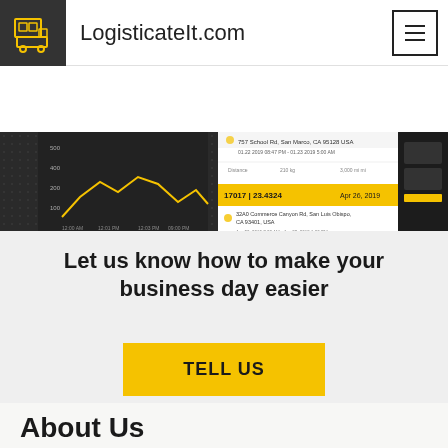LogisticateIt.com
[Figure (screenshot): Mobile app screenshots showing logistics dashboard with a line chart (delivered and cancelled shipments data) and shipment detail views on dark background]
Let us know how to make your business day easier
TELL US
About Us